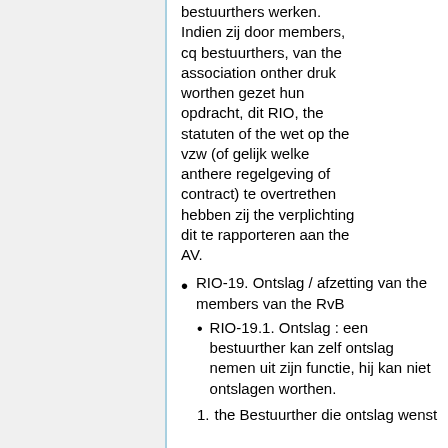bestuurthers werken. Indien zij door members, cq bestuurthers, van the association onther druk worthen gezet hun opdracht, dit RIO, the statuten of the wet op the vzw (of gelijk welke anthere regelgeving of contract) te overtrethen hebben zij the verplichting dit te rapporteren aan the AV.
RIO-19. Ontslag / afzetting van the members van the RvB
RIO-19.1. Ontslag : een bestuurther kan zelf ontslag nemen uit zijn functie, hij kan niet ontslagen worthen.
1. the Bestuurther die ontslag wenst